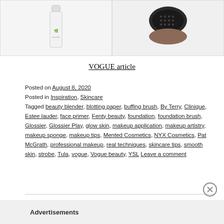[Figure (photo): Two product images side by side: left shows a white/transparent bottle product, right shows a black compact/loose powder container]
VOGUE article
Posted on August 8, 2020
Posted in Inspiration, Skincare
Tagged beauty blender, blotting paper, buffing brush, By Terry, Clinique, Estee lauder, face primer, Fenty beauty, foundation, foundation brush, Glossier, Glossier Play, glow skin, makeup application, makeup artistry, makeup sponge, makeup tips, Mented Cosmetics, NYX Cosmetics, Pat McGrath, professional makeup, real techniques, skincare tips, smooth skin, strobe, Tula, vogue, Vogue beauty, YSL Leave a comment
[Figure (other): Close (X) button circle icon]
Advertisements